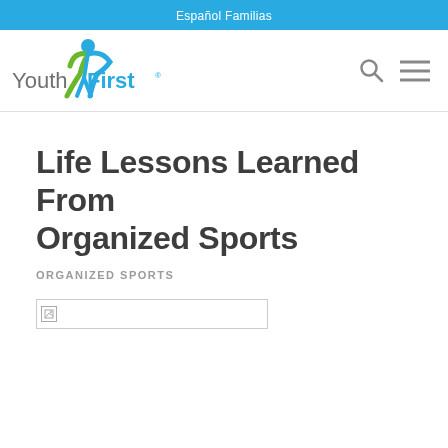Español Familias
[Figure (logo): Youth First logo with stylized figure and green checkmark, text reads 'Youth First']
Life Lessons Learned From Organized Sports
ORGANIZED SPORTS
[Figure (photo): Broken image placeholder (image failed to load)]